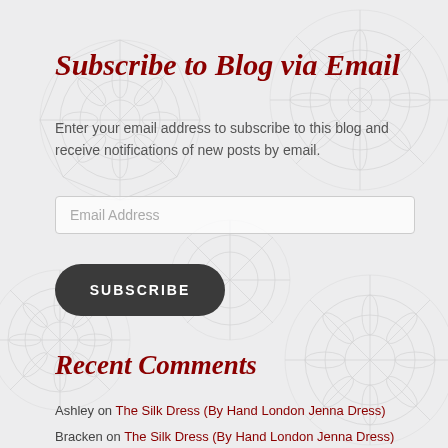Subscribe to Blog via Email
Enter your email address to subscribe to this blog and receive notifications of new posts by email.
Email Address
SUBSCRIBE
Recent Comments
Ashley on The Silk Dress (By Hand London Jenna Dress)
Bracken on The Silk Dress (By Hand London Jenna Dress)